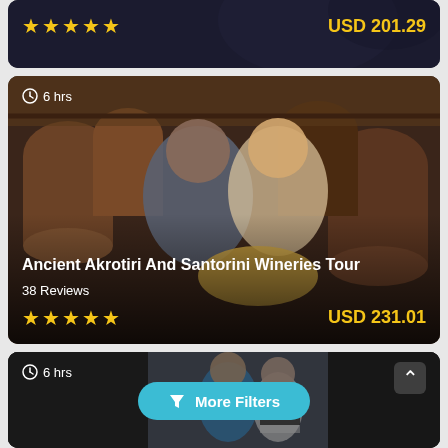[Figure (photo): Top card: dark background with stars and USD 201.29 price, partially visible tour card]
USD 201.29
[Figure (photo): Middle card: Two women smiling in front of wine barrels at a winery in Santorini, 6 hrs duration]
6 hrs
Ancient Akrotiri And Santorini Wineries Tour
38 Reviews
USD 231.01
[Figure (photo): Bottom card: Man and woman smiling at entrance, 6 hrs duration, More Filters button visible]
6 hrs
More Filters